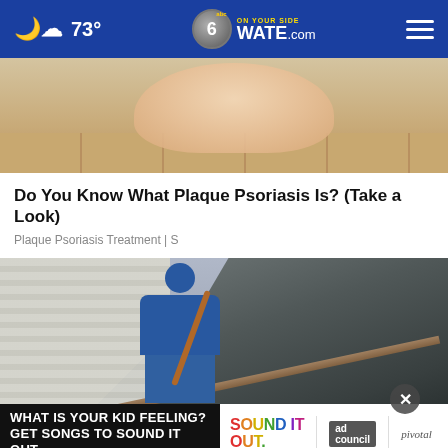73° WATE.com abc 6 ON YOUR SIDE
[Figure (photo): Close-up photo of a foot or skin showing psoriasis on a wooden floor background]
Do You Know What Plaque Psoriasis Is? (Take a Look)
Plaque Psoriasis Treatment | S
[Figure (photo): A roofer/worker in blue jeans and jacket working on a damaged roof, removing old shingles with a tool, white siding visible in background]
[Figure (photo): Advertisement banner: WHAT IS YOUR KID FEELING? GET SONGS TO SOUND IT OUT. SOUND IT OUT - Ad Council / Pivotal]